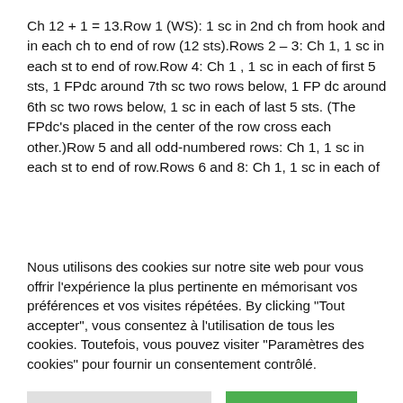Ch 12 + 1 = 13.Row 1 (WS): 1 sc in 2nd ch from hook and in each ch to end of row (12 sts).Rows 2 – 3: Ch 1, 1 sc in each st to end of row.Row 4: Ch 1 , 1 sc in each of first 5 sts, 1 FPdc around 7th sc two rows below, 1 FP dc around 6th sc two rows below, 1 sc in each of last 5 sts. (The FPdc's placed in the center of the row cross each other.)Row 5 and all odd-numbered rows: Ch 1, 1 sc in each st to end of row.Rows 6 and 8: Ch 1, 1 sc in each of first… [text continues]
Nous utilisons des cookies sur notre site web pour vous offrir l'expérience la plus pertinente en mémorisant vos préférences et vos visites répétées. By clicking "Tout accepter", vous consentez à l'utilisation de tous les cookies. Toutefois, vous pouvez visiter "Paramètres des cookies" pour fournir un consentement contrôlé.
Paramètres des cookies | Tout accepter